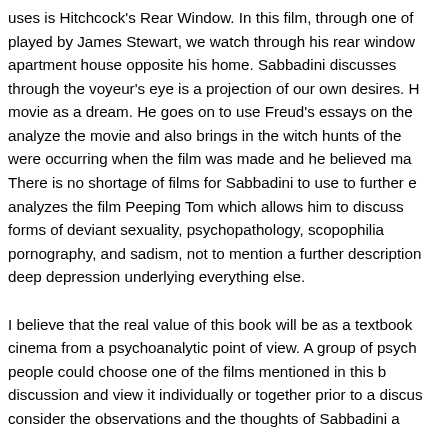uses is Hitchcock's Rear Window. In this film, through one of played by James Stewart, we watch through his rear window apartment house opposite his home. Sabbadini discusses through the voyeur's eye is a projection of our own desires. H movie as a dream. He goes on to use Freud's essays on the analyze the movie and also brings in the witch hunts of the were occurring when the film was made and he believed ma There is no shortage of films for Sabbadini to use to further e analyzes the film Peeping Tom which allows him to discuss forms of deviant sexuality, psychopathology, scopophilia pornography, and sadism, not to mention a further description deep depression underlying everything else.
I believe that the real value of this book will be as a textbook cinema from a psychoanalytic point of view. A group of psych people could choose one of the films mentioned in this b discussion and view it individually or together prior to a discus consider the observations and the thoughts of Sabbadini a